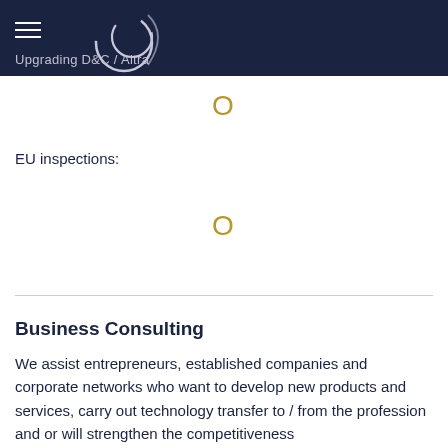Upgrading D&C / Altra
0
EU inspections:
0
Business Consulting
We assist entrepreneurs, established companies and corporate networks who want to develop new products and services, carry out technology transfer to / from the profession and or will strengthen the competitiveness